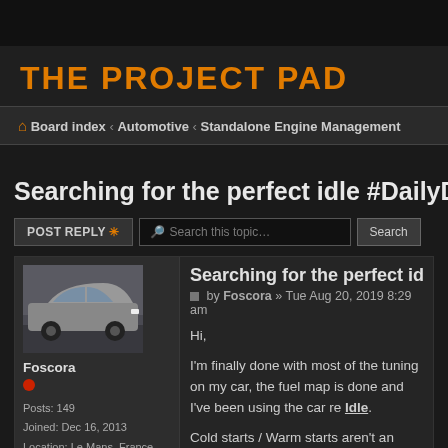THE PROJECT PAD
Board index › Automotive › Standalone Engine Management
Searching for the perfect idle #DailyDriver
POSTREPLY * | Search this topic... | Search
[Figure (photo): Car photograph showing a silver/grey classic car in a parking lot]
Foscora
Posts: 149
Joined: Dec 16, 2013
Location: Le Mans, France
Searching for the perfect idle
by Foscora » Tue Aug 20, 2019 8:29 am
Hi,

I'm finally done with most of the tuning on my car, the fuel map is done and I've been using the car re... Idle.

Cold starts / Warm starts aren't an issue, b...